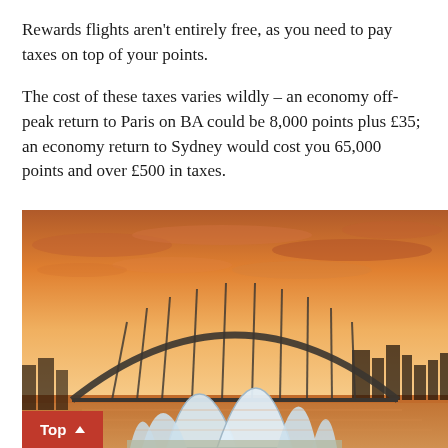Rewards flights aren't entirely free, as you need to pay taxes on top of your points.
The cost of these taxes varies wildly – an economy off-peak return to Paris on BA could be 8,000 points plus £35; an economy return to Sydney would cost you 65,000 points and over £500 in taxes.
[Figure (photo): Aerial/ground-level view of Sydney Opera House with its iconic white sail-shaped shells in the foreground and the Sydney Harbour Bridge in the background, photographed at sunset/golden hour with warm orange and pink sky.]